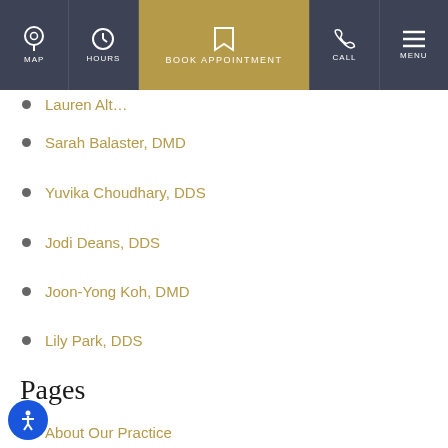MAP | HOURS | BOOK APPOINTMENT | CALL | MENU
Lauren Alt… (truncated)
Sarah Balaster, DMD
Yuvika Choudhary, DDS
Jodi Deans, DDS
Joon-Yong Koh, DMD
Lily Park, DDS
Pages
About Our Practice
Blog
Contact Us